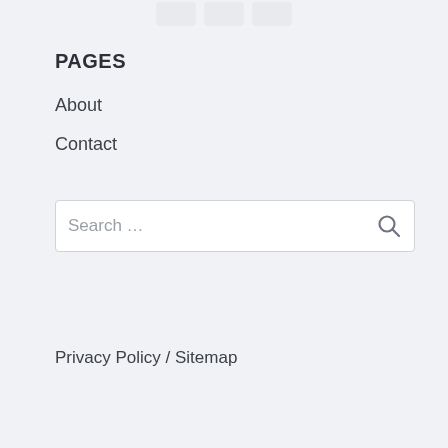[icon buttons row]
PAGES
About
Contact
[Figure (other): Search input box with placeholder text 'Search ...' and a search icon on the right]
Privacy Policy  /  Sitemap